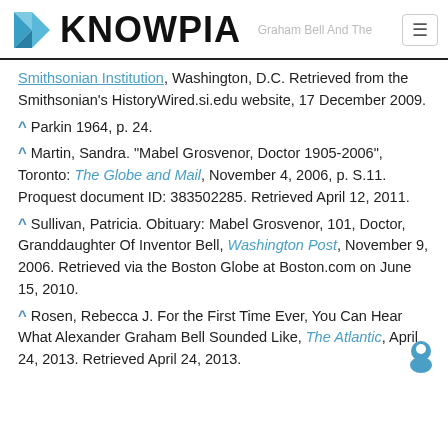KNOWPIA
Smithsonian Institution, Washington, D.C. Retrieved from the Smithsonian's HistoryWired.si.edu website, 17 December 2009.
^ Parkin 1964, p. 24.
^ Martin, Sandra. "Mabel Grosvenor, Doctor 1905-2006", Toronto: The Globe and Mail, November 4, 2006, p. S.11. Proquest document ID: 383502285. Retrieved April 12, 2011.
^ Sullivan, Patricia. Obituary: Mabel Grosvenor, 101, Doctor, Granddaughter Of Inventor Bell, Washington Post, November 9, 2006. Retrieved via the Boston Globe at Boston.com on June 15, 2010.
^ Rosen, Rebecca J. For the First Time Ever, You Can Hear What Alexander Graham Bell Sounded Like, The Atlantic, April 24, 2013. Retrieved April 24, 2013.